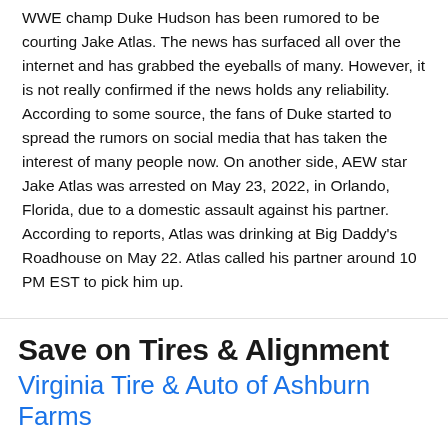WWE champ Duke Hudson has been rumored to be courting Jake Atlas. The news has surfaced all over the internet and has grabbed the eyeballs of many. However, it is not really confirmed if the news holds any reliability. According to some source, the fans of Duke started to spread the rumors on social media that has taken the interest of many people now. On another side, AEW star Jake Atlas was arrested on May 23, 2022, in Orlando, Florida, due to a domestic assault against his partner. According to reports, Atlas was drinking at Big Daddy's Roadhouse on May 22. Atlas called his partner around 10 PM EST to pick him up.
When the victim instructed Atlas to go home, he asked the latter to stay and drink with him instead. It soon turned to a
Save on Tires & Alignment
Virginia Tire & Auto of Ashburn Farms